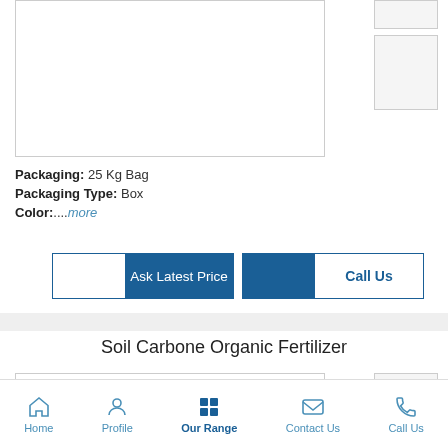[Figure (photo): Main product image area (empty/white placeholder)]
[Figure (photo): Thumbnail 1 (empty/white placeholder)]
[Figure (photo): Thumbnail 2 (empty/white placeholder)]
Packaging: 25 Kg Bag
Packaging Type: Box
Color:....more
Ask Latest Price
Call Us
Soil Carbone Organic Fertilizer
[Figure (photo): Next product image area (partial, empty placeholder)]
Home   Profile   Our Range   Contact Us   Call Us